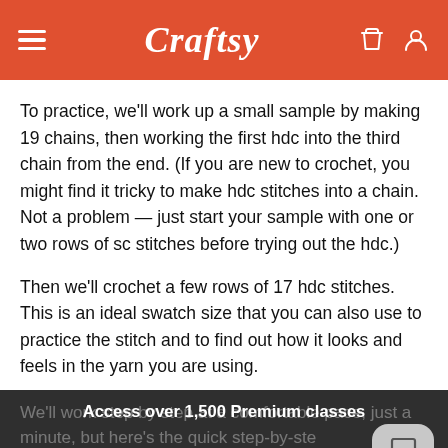Craftsy
To practice, we'll work up a small sample by making 19 chains, then working the first hdc into the third chain from the end. (If you are new to crochet, you might find it tricky to make hdc stitches into a chain. Not a problem — just start your sample with one or two rows of sc stitches before trying out the hdc.)
Then we'll crochet a few rows of 17 hdc stitches. This is an ideal swatch size that you can also use to practice the stitch and to find out how it looks and feels in the yarn you are using.
We'll work step by step at a comfortable pace, just a minute, but here's the quick step-by-step tutorial:
Access over 1,500 Premium classes
BECOME A MEMBER